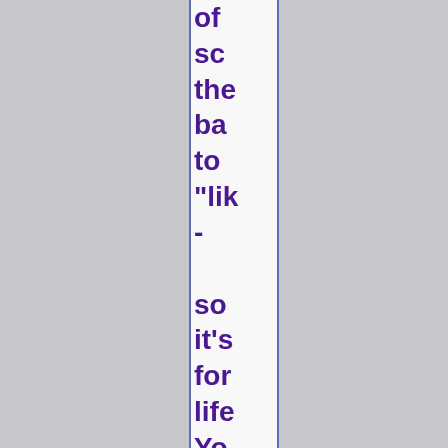of sc the ba to "lik - so it's for life Yo stu wit me Th ho I se